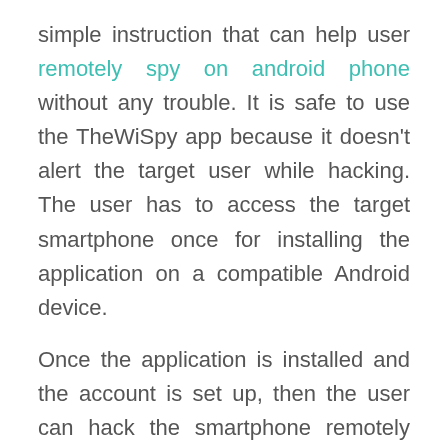simple instruction that can help user remotely spy on android phone without any trouble. It is safe to use the TheWiSpy app because it doesn't alert the target user while hacking. The user has to access the target smartphone once for installing the application on a compatible Android device.
Once the application is installed and the account is set up, then the user can hack the smartphone remotely without any struggle. That means that the TheWiSpy account is essential for hacking the target device, which can access after purchasing the TheWiSpy software. Users will see